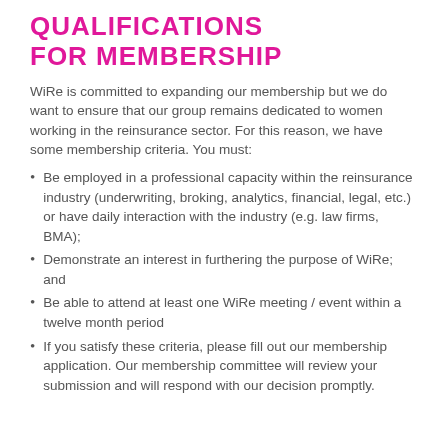QUALIFICATIONS FOR MEMBERSHIP
WiRe is committed to expanding our membership but we do want to ensure that our group remains dedicated to women working in the reinsurance sector. For this reason, we have some membership criteria. You must:
Be employed in a professional capacity within the reinsurance industry (underwriting, broking, analytics, financial, legal, etc.) or have daily interaction with the industry (e.g. law firms, BMA);
Demonstrate an interest in furthering the purpose of WiRe; and
Be able to attend at least one WiRe meeting / event within a twelve month period
If you satisfy these criteria, please fill out our membership application. Our membership committee will review your submission and will respond with our decision promptly.